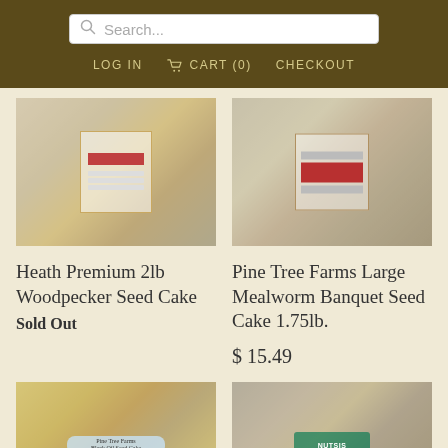Search... | LOG IN  CART (0)  CHECKOUT
[Figure (photo): Product photo of Heath Premium 2lb Woodpecker Seed Cake package]
Heath Premium 2lb Woodpecker Seed Cake
Sold Out
[Figure (photo): Product photo of Pine Tree Farms Large Mealworm Banquet Seed Cake 1.75lb package]
Pine Tree Farms Large Mealworm Banquet Seed Cake 1.75lb.
$ 15.49
[Figure (photo): Product photo of Black Oil Seed Cake]
[Figure (photo): Product photo of Nutsis seed product]